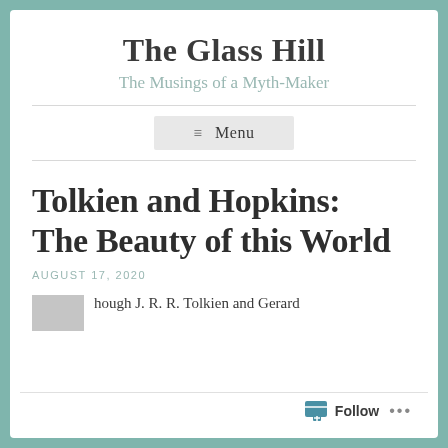The Glass Hill
The Musings of a Myth-Maker
≡ Menu
Tolkien and Hopkins: The Beauty of this World
AUGUST 17, 2020
hough J. R. R. Tolkien and Gerard
Follow